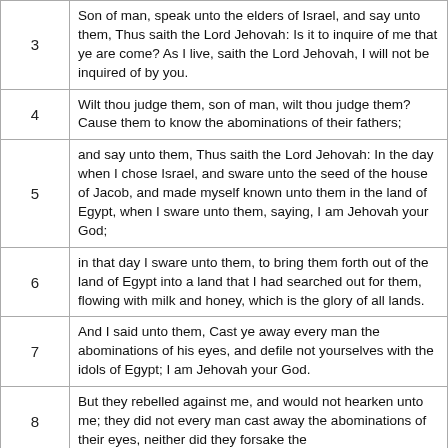| # | Verse |
| --- | --- |
| 3 | Son of man, speak unto the elders of Israel, and say unto them, Thus saith the Lord Jehovah: Is it to inquire of me that ye are come? As I live, saith the Lord Jehovah, I will not be inquired of by you. |
| 4 | Wilt thou judge them, son of man, wilt thou judge them? Cause them to know the abominations of their fathers; |
| 5 | and say unto them, Thus saith the Lord Jehovah: In the day when I chose Israel, and sware unto the seed of the house of Jacob, and made myself known unto them in the land of Egypt, when I sware unto them, saying, I am Jehovah your God; |
| 6 | in that day I sware unto them, to bring them forth out of the land of Egypt into a land that I had searched out for them, flowing with milk and honey, which is the glory of all lands. |
| 7 | And I said unto them, Cast ye away every man the abominations of his eyes, and defile not yourselves with the idols of Egypt; I am Jehovah your God. |
| 8 | But they rebelled against me, and would not hearken unto me; they did not every man cast away the abominations of their eyes, neither did they forsake the idols of Egypt. Then I said I would pour out... |